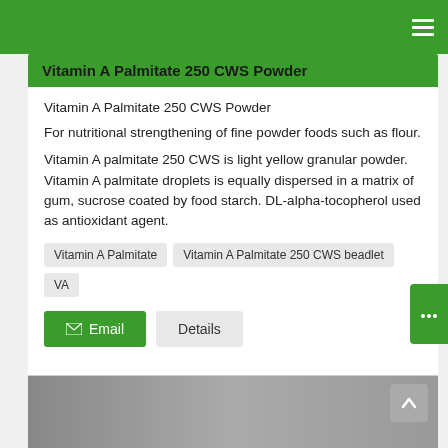Vitamin A Palmitate 250 CWS Powder
Vitamin A Palmitate 250 CWS Powder
For nutritional strengthening of fine powder foods such as flour.
Vitamin A palmitate 250 CWS is light yellow granular powder. Vitamin A palmitate droplets is equally dispersed in a matrix of gum, sucrose coated by food starch. DL-alpha-tocopherol used as antioxidant agent.
Vitamin A Palmitate
Vitamin A Palmitate 250 CWS beadlet
VA
[Figure (screenshot): Bottom image strip showing a product photo partially visible]